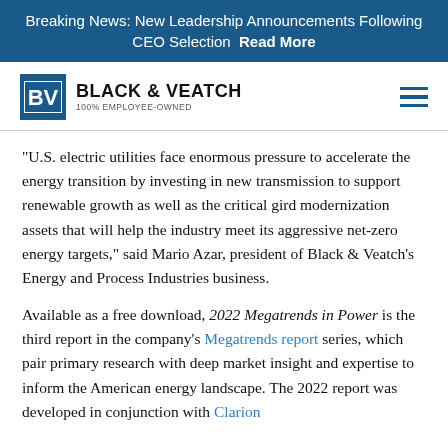Breaking News: New Leadership Announcements Following CEO Selection  Read More
[Figure (logo): Black & Veatch logo with BV icon in blue square and text '100% EMPLOYEE-OWNED' below company name]
“U.S. electric utilities face enormous pressure to accelerate the energy transition by investing in new transmission to support renewable growth as well as the critical gird modernization assets that will help the industry meet its aggressive net-zero energy targets,” said Mario Azar, president of Black & Veatch’s Energy and Process Industries business.
Available as a free download, 2022 Megatrends in Power is the third report in the company’s Megatrends report series, which pair primary research with deep market insight and expertise to inform the American energy landscape. The 2022 report was developed in conjunction with Clarion